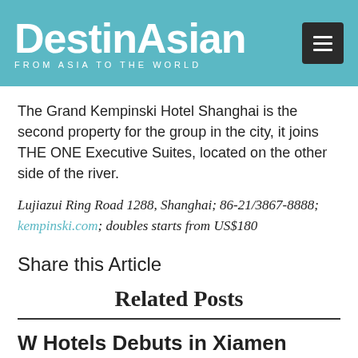DestinAsian — FROM ASIA TO THE WORLD
The Grand Kempinski Hotel Shanghai is the second property for the group in the city, it joins THE ONE Executive Suites, located on the other side of the river.
Lujiazui Ring Road 1288, Shanghai; 86-21/3867-8888; kempinski.com; doubles starts from US$180
Share this Article
Related Posts
W Hotels Debuts in Xiamen
Guests can expect to see whimsical interiors dotted with